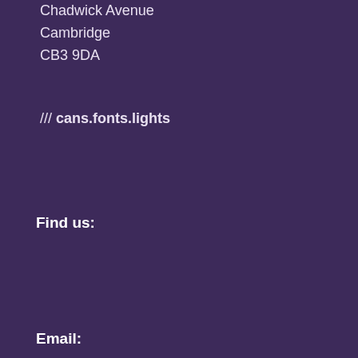Chadwick Avenue
Cambridge
CB3 9DA
/// cans.fonts.lights
Find us:
Email: